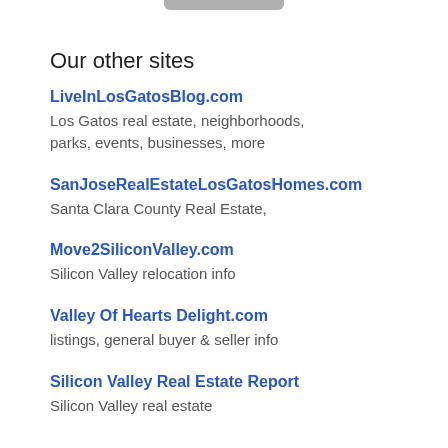Our other sites
LiveInLosGatosBlog.com
Los Gatos real estate, neighborhoods, parks, events, businesses, more
SanJoseRealEstateLosGatosHomes.com
Santa Clara County Real Estate,
Move2SiliconValley.com
Silicon Valley relocation info
Valley Of Hearts Delight.com
listings, general buyer & seller info
Silicon Valley Real Estate Report
Silicon Valley real estate